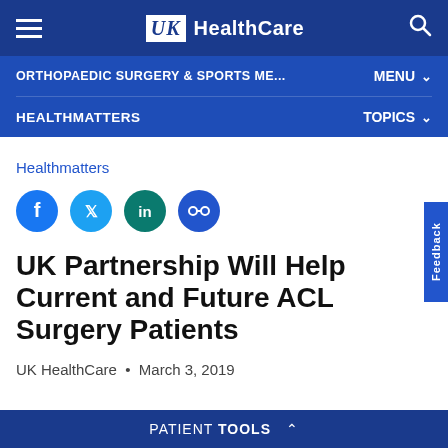UK HealthCare — Orthopaedic Surgery & Sports Me... — HealthMatters
Healthmatters
[Figure (other): Social share icons: Facebook, Twitter, LinkedIn, Link]
UK Partnership Will Help Current and Future ACL Surgery Patients
UK HealthCare • March 3, 2019
PATIENT TOOLS